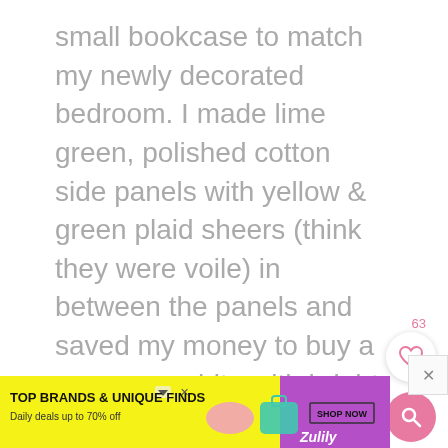small bookcase to match my newly decorated bedroom. I made lime green, polished cotton side panels with yellow & green plaid sheers (think they were voile) in between the panels and saved my money to buy a summery white with bright pink medium sized flowers with green leaves for a bedspread........ sigh..... miss my parents.
Reply
[Figure (other): Advertisement banner for Zulily: TOP BRANDS & UNIQUE FINDS, Daily deals up to 70% off, SHOP NOW button, with product images of shoes and a teal handbag, yellow and purple gradient background with Zulily logo]